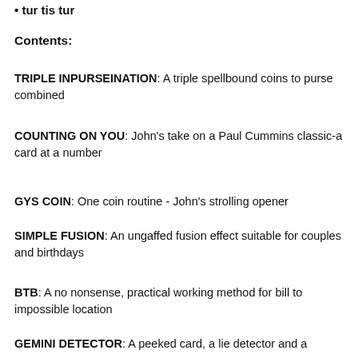tur tis tur
Contents:
TRIPLE INPURSEINATION: A triple spellbound coins to purse combined
COUNTING ON YOU: John's take on a Paul Cummins classic-a card at a number
GYS COIN: One coin routine - John's strolling opener
SIMPLE FUSION: An ungaffed fusion effect suitable for couples and birthdays
BTB: A no nonsense, practical working method for bill to impossible location
GEMINI DETECTOR: A peeked card, a lie detector and a